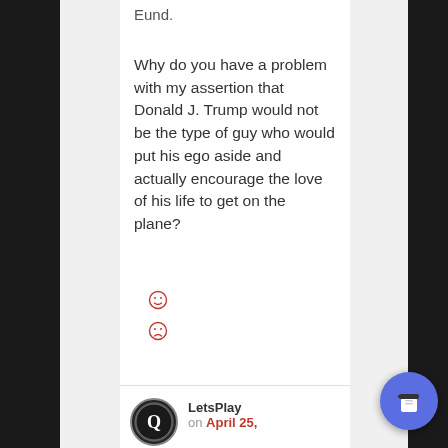Why do you have a problem with my assertion that Donald J. Trump would not be the type of guy who would put his ego aside and actually encourage the love of his life to get on the plane?
[Figure (other): Two red outlined smiley face emoji icons stacked vertically]
[Figure (other): Circular avatar with Q logo badge]
LetsPlay on April 25,